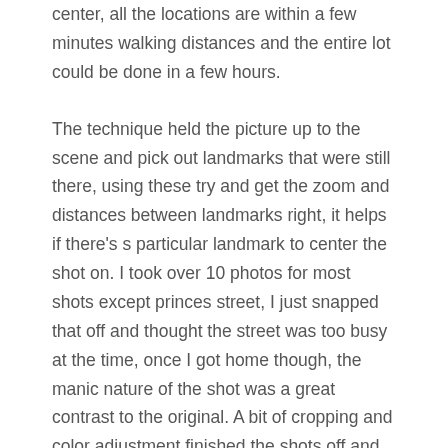center, all the locations are within a few minutes walking distances and the entire lot could be done in a few hours.
The technique held the picture up to the scene and pick out landmarks that were still there, using these try and get the zoom and distances between landmarks right, it helps if there's s particular landmark to center the shot on. I took over 10 photos for most shots except princes street, I just snapped that off and thought the street was too busy at the time, once I got home though, the manic nature of the shot was a great contrast to the original. A bit of cropping and color adjustment finished the shots off and the end result was better than I had anticipated and I'm modestly pleased with the project.
So what's next?
Erm… I don't honestly know but I like to travel and if I'm going somewhere I will definitely look up the Commons beforehand, even just for interest's sake. My girlfriend is taking me to Rome in a few